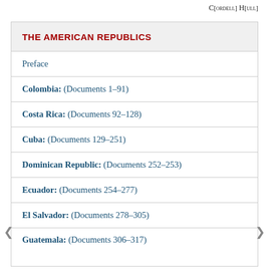C[ORDELL] H[ULL]
| THE AMERICAN REPUBLICS |
| --- |
| Preface |
| Colombia: (Documents 1–91) |
| Costa Rica: (Documents 92–128) |
| Cuba: (Documents 129–251) |
| Dominican Republic: (Documents 252–253) |
| Ecuador: (Documents 254–277) |
| El Salvador: (Documents 278–305) |
| Guatemala: (Documents 306–317) |